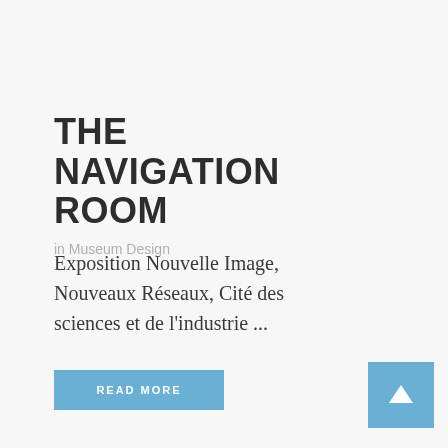THE NAVIGATION ROOM
in Museum Design
Exposition Nouvelle Image, Nouveaux Réseaux, Cité des sciences et de l'industrie ...
READ MORE
[Figure (illustration): Blue square button with white upward arrow icon]